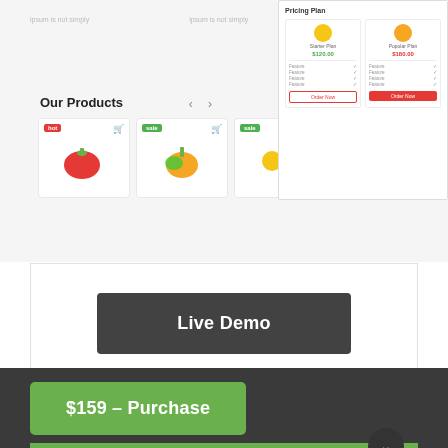[Figure (screenshot): Website screenshot showing Our Products section with fruit product cards and a Pricing Plan panel in top right]
Live Demo
65  Person Liked it
Share:
$159 – Purchase